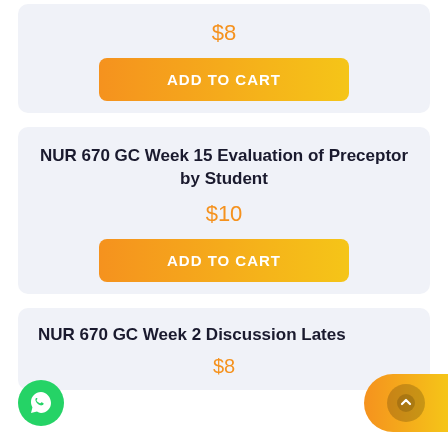$8
ADD TO CART
NUR 670 GC Week 15 Evaluation of Preceptor by Student
$10
ADD TO CART
NUR 670 GC Week 2 Discussion Latest
$8